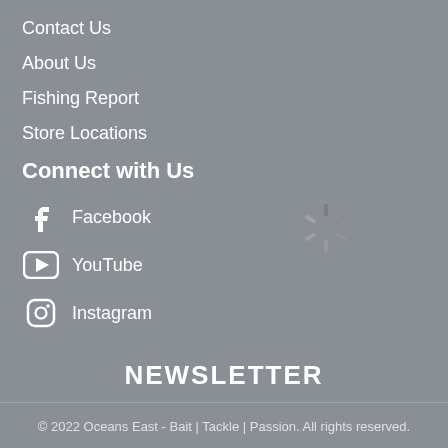Contact Us
About Us
Fishing Report
Store Locations
Connect with Us
Facebook
YouTube
Instagram
[Figure (other): Loading spinner animation graphic]
NEWSLETTER
Enter your email address  Subscribe
© 2022 Oceans East - Bait | Tackle | Passion. All rights reserved.